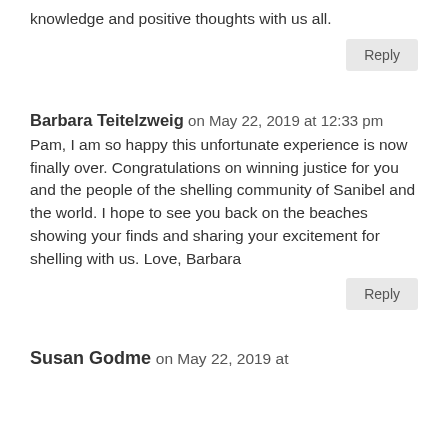knowledge and positive thoughts with us all.
Reply
Barbara Teitelzweig on May 22, 2019 at 12:33 pm
Pam, I am so happy this unfortunate experience is now finally over. Congratulations on winning justice for you and the people of the shelling community of Sanibel and the world. I hope to see you back on the beaches showing your finds and sharing your excitement for shelling with us. Love, Barbara
Reply
Susan Godme on May 22, 2019 at